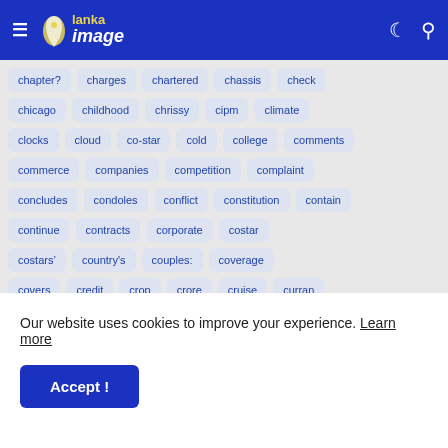Lanka Image
chapter?
charges
chartered
chassis
check
chicago
childhood
chrissy
cipm
climate
clocks
cloud
co-star
cold
college
comments
commerce
companies
competition
complaint
concludes
condoles
conflict
constitution
contain
continue
contracts
corporate
costar
costars&#8217;
country's
couples:
coverage
covers
credit
crop
crore
cruise
curran
Our website uses cookies to improve your experience. Learn more